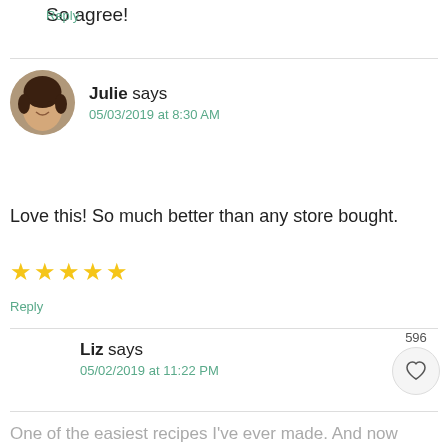So agree!
Reply
Julie says
05/03/2019 at 8:30 AM
Love this! So much better than any store bought.
★★★★★
Reply
596
Liz says
05/02/2019 at 11:22 PM
One of the easiest recipes I've ever made. And now